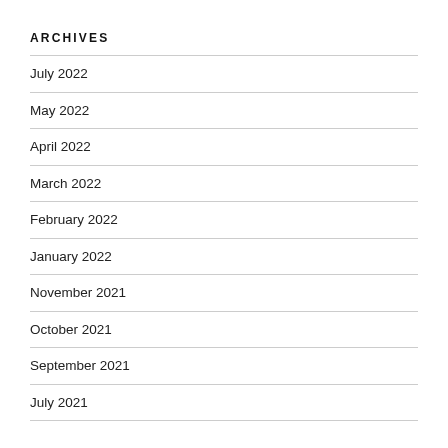ARCHIVES
July 2022
May 2022
April 2022
March 2022
February 2022
January 2022
November 2021
October 2021
September 2021
July 2021